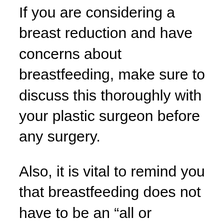If you are considering a breast reduction and have concerns about breastfeeding, make sure to discuss this thoroughly with your plastic surgeon before any surgery.
Also, it is vital to remind you that breastfeeding does not have to be an “all or nothing” endeavor. You may just need to re-define what “success” means when it comes to breastfeeding after a breast reduction. Anytime a woman has a physiological factor that (in any way) can affect milk supply, we always want her to understand that any amount of breastmilk is fulfilling and amazing